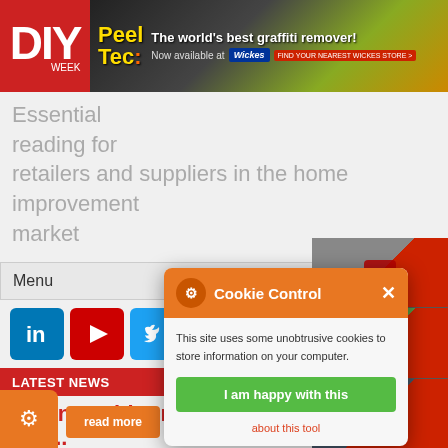[Figure (screenshot): DIY Week website header with red DIY logo and Peel Tec graffiti remover advertisement banner]
Essential reading for retailers and suppliers in the home improvement market
Menu
[Figure (screenshot): Social media icons: LinkedIn, YouTube, Twitter and search button]
LATEST NEWS
Business blooms for online...
[Figure (screenshot): Right side video thumbnails: Amtech Co..., Palace Che..., Insect-O-Cu...]
[Figure (screenshot): Cookie Control modal popup with orange header, cookie description, I am happy with this button, and about this tool link]